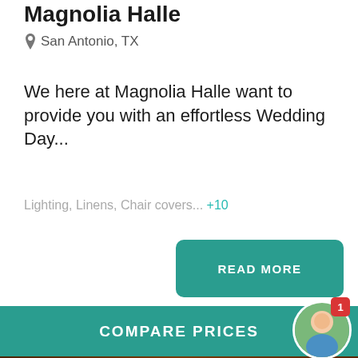Magnolia Halle
San Antonio, TX
We here at Magnolia Halle want to provide you with an effortless Wedding Day...
Lighting, Linens, Chair covers... +10
READ MORE
[Figure (photo): Brown decorative banner with a light notch at top center]
COMPARE PRICES